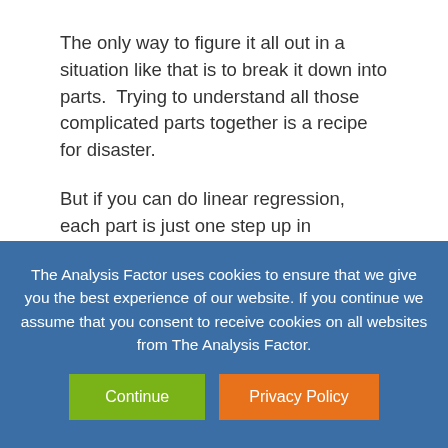The only way to figure it all out in a situation like that is to break it down into parts.  Trying to understand all those complicated parts together is a recipe for disaster.
But if you can do linear regression, each part is just one step up in complexity.  Take one step at a time.
The Type of Model Reflects the Distribution of the Response Variable
The Analysis Factor uses cookies to ensure that we give you the best experience of our website. If you continue we assume that you consent to receive cookies on all websites from The Analysis Factor.